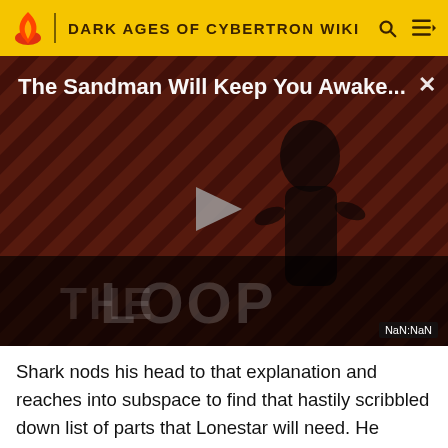DARK AGES OF CYBERTRON WIKI
[Figure (screenshot): Video player thumbnail showing 'The Sandman Will Keep You Awake...' with a dark figure on a red/black striped background, play button in center, 'THE LOOP' watermark, and NaN:NaN timestamp badge]
Shark nods his head to that explanation and reaches into subspace to find that hastily scribbled down list of parts that Lonestar will need. He hmms softly and rubs at the top of his head, against that fin, "I don't think any of them can protest if they wanted to anyway." he notes. Setting